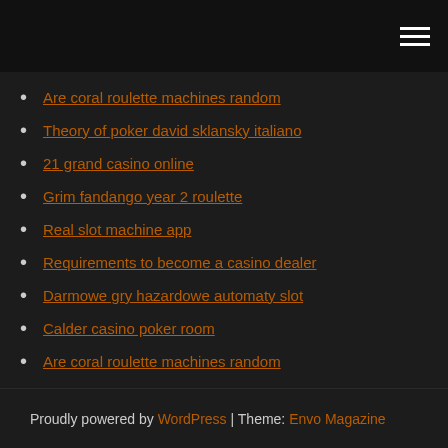[navigation bar with hamburger menu]
Are coral roulette machines random
Theory of poker david sklansky italiano
21 grand casino online
Grim fandango year 2 roulette
Real slot machine app
Requirements to become a casino dealer
Darmowe gry hazardowe automaty slot
Calder casino poker room
Are coral roulette machines random
Sunday night poker sunshine coast
Sam phillips poker online name
Proudly powered by WordPress | Theme: Envo Magazine